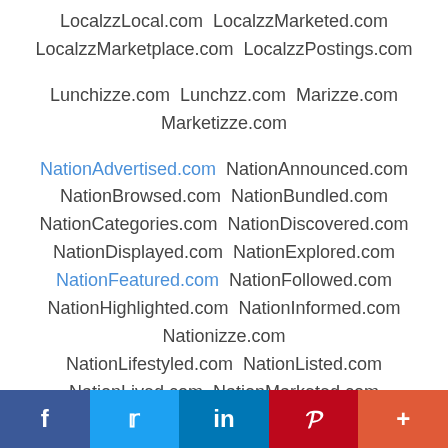LocalzzLocal.com  LocalzzMarketed.com
LocalzzMarketplace.com  LocalzzPostings.com
Lunchizze.com  Lunchzz.com  Marizze.com
Marketizze.com
NationAdvertised.com  NationAnnounced.com
NationBrowsed.com  NationBundled.com
NationCategories.com  NationDiscovered.com
NationDisplayed.com  NationExplored.com
NationFeatured.com  NationFollowed.com
NationHighlighted.com  NationInformed.com
Nationizze.com
NationLifestyled.com  NationListed.com
NationLived.com  NationMarketed.com
NationOrganized.com  NationPartnered.com
NationPromoted.com
f  t  in  P  +